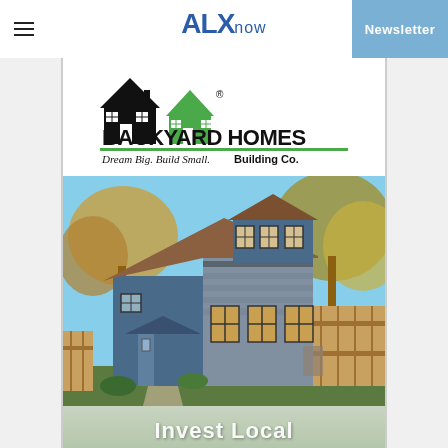ALXnow | Newsletter
[Figure (logo): Backyard Homes Building Co. logo with two house icons (black and green) and tagline 'Dream Big. Build Small.' with registered trademark symbol]
[Figure (photo): Photo of a small two-story blue and gray house (ADU/backyard home) with shingled siding, dormer windows, surrounded by trees with fall foliage and wooden fence. Text 'Invest Local' partially visible at bottom.]